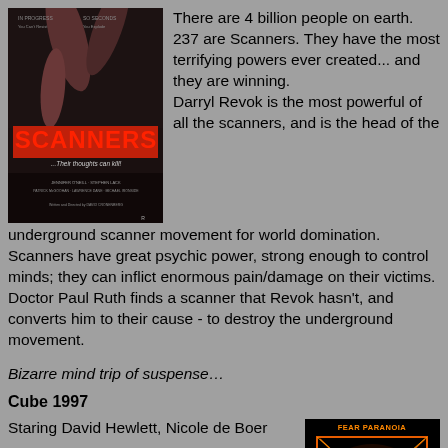[Figure (photo): Scanners 1981 movie poster with red title text and hands]
There are 4 billion people on earth. 237 are Scanners. They have the most terrifying powers ever created... and they are winning.
Darryl Revok is the most powerful of all the scanners, and is the head of the underground scanner movement for world domination. Scanners have great psychic power, strong enough to control minds; they can inflict enormous pain/damage on their victims. Doctor Paul Ruth finds a scanner that Revok hasn't, and converts him to their cause - to destroy the underground movement.
Bizarre mind trip of suspense…
Cube 1997
Staring David Hewlett, Nicole de Boer
Six total strangers awaken one day to find themselves alone in a cubical maze. Once they meet, they work together using their
[Figure (photo): Cube 1997 movie poster with orange glowing cube and text: FEAR PARANOIA SUSPICION DESPERATION]